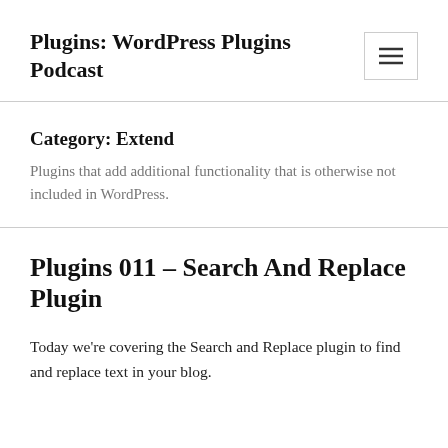Plugins: WordPress Plugins Podcast
Category: Extend
Plugins that add additional functionality that is otherwise not included in WordPress.
Plugins 011 – Search And Replace Plugin
Today we're covering the Search and Replace plugin to find and replace text in your blog.